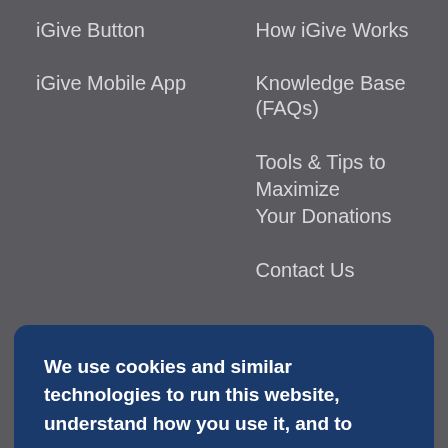iGive Button
How iGive Works
iGive Mobile App
Knowledge Base (FAQs)
Tools & Tips to Maximize Your Donations
Contact Us
All Causes
Terms of Service
Info for Merchants & Advertisers
Privacy Policy
Press Room
Info For Causes
Donation Checks
We use cookies and similar technologies to run this website, understand how you use it, and to